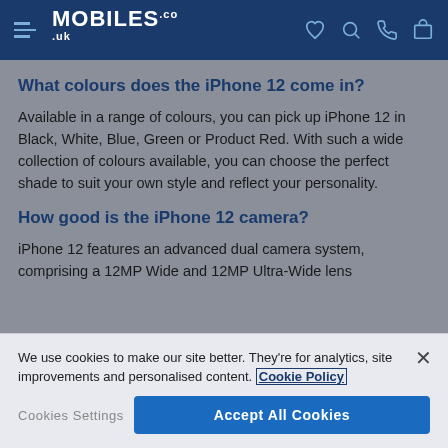MOBILES.co.uk
What colours does the iPhone 12 come in?
Available in a range of colours, you can pick up iPhone 12 in Black, White, Blue, Green or Product Red. With such a wide collection of colours available, you can choose the perfect shade to suit your own style and reflect your personality.
How good is the iPhone 12 camera?
iPhone 12 features an advanced dual camera system, comprising a 12MP Wide and 12MP Ultra-Wide lens
We use cookies to make our site better. They're for analytics, site improvements and personalised content. Cookie Policy
Cookies Settings
Accept All Cookies